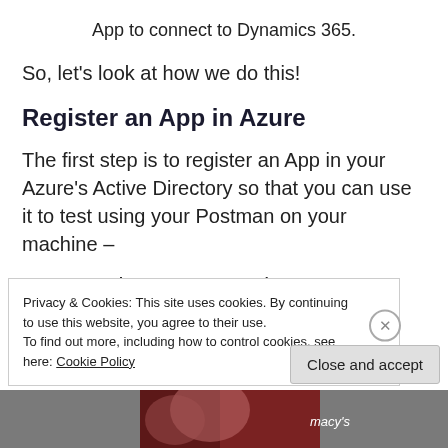App to connect to Dynamics 365.
So, let’s look at how we do this!
Register an App in Azure
The first step is to register an App in your Azure’s Active Directory so that you can use it to test using your Postman on your machine –
1.  Go to the Azure Portal
Privacy & Cookies: This site uses cookies. By continuing to use this website, you agree to their use.
To find out more, including how to control cookies, see here: Cookie Policy
[Figure (photo): Partial bottom image bar with reddish tones, partially visible faces/content from a promotional or editorial image, with italic text 'macy's' visible at right.]